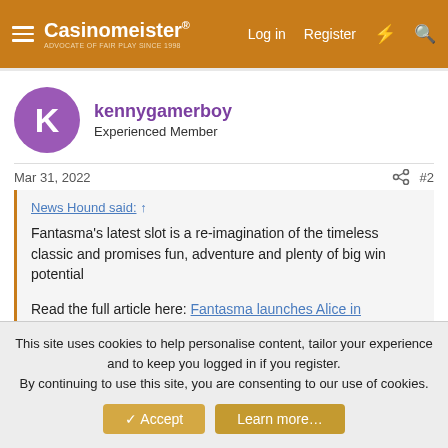Casinomeister® — ADVOCATE OF FAIR PLAY SINCE 1998 | Log in | Register
kennygamerboy
Experienced Member
Mar 31, 2022 #2
News Hound said: ↑
Fantasma's latest slot is a re-imagination of the timeless classic and promises fun, adventure and plenty of big win potential
Read the full article here: Fantasma launches Alice in Adventureland globally - Casinomeister
been playing this at paddy power it's impossible to bonus
This site uses cookies to help personalise content, tailor your experience and to keep you logged in if you register.
By continuing to use this site, you are consenting to our use of cookies.